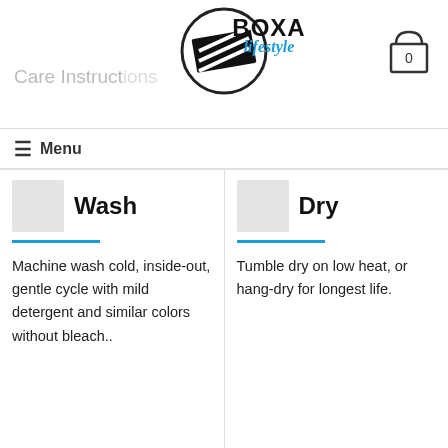Care Instructions — BOXA lifestyle
≡ Menu
Wash
Machine wash cold, inside-out, gentle cycle with mild detergent and similar colors without bleach..
Dry
Tumble dry on low heat, or hang-dry for longest life.
Iron
Dry Clean